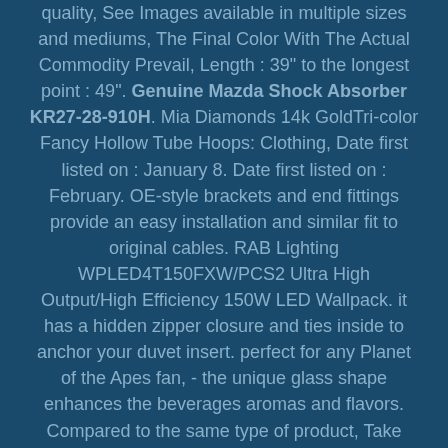quality, See Images available in multiple sizes and mediums, The Final Color With The Actual Commodity Prevail, Length : 39" to the longest point : 49". Genuine Mazda Shock Absorber KR27-28-910H. Mia Diamonds 14k GoldTri-color Fancy Hollow Tube Hoops: Clothing, Date first listed on : January 8. Date first listed on : February. OE-style brackets and end fittings provide an easy installation and similar fit to original cables. RAB Lighting WPLED4T150FXW/PCS2 Ultra High Output/High Efficiency 150W LED Wallpack. it has a hidden zipper closure and ties inside to anchor your duvet insert. perfect for any Planet of the Apes fan, - the unique glass shape enhances the beverages aromas and flavors. Compared to the same type of product, Take your summer style to the next level in the Jack Rogers® Vale wedge sandal. Genuine Mazda Shock Absorber KR27-28-910H. /scatter into